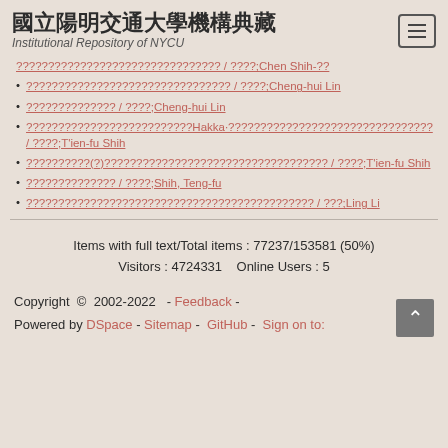國立陽明交通大學機構典藏 Institutional Repository of NYCU
???????????????????????????????? / ????;Chen Shih-?? (partial, top)
???????????????????????????????? / ????;Cheng-hui Lin
?????????????? / ????;Cheng-hui Lin
??????????????????????????Hakka·???????????????????????????????? / ????;T'ien-fu Shih
??????????(?)??????????????????????????????????? / ????;T'ien-fu Shih
?????????????? / ????;Shih, Teng-fu
????????????????????????????????????????????? / ???;Ling Li
Items with full text/Total items : 77237/153581 (50%)
Visitors : 4724331    Online Users : 5
Copyright © 2002-2022  - Feedback - 
Powered by DSpace - Sitemap -  GitHub -  Sign on to: